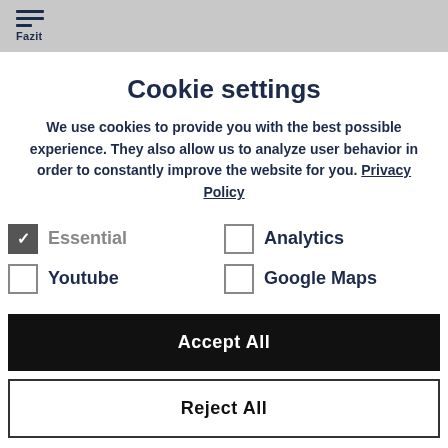Fazit
Cookie settings
We use cookies to provide you with the best possible experience. They also allow us to analyze user behavior in order to constantly improve the website for you. Privacy Policy
Essential (checked)
Analytics (unchecked)
Youtube (unchecked)
Google Maps (unchecked)
Accept All
Reject All
of cookies. You can deactivate or restrict the